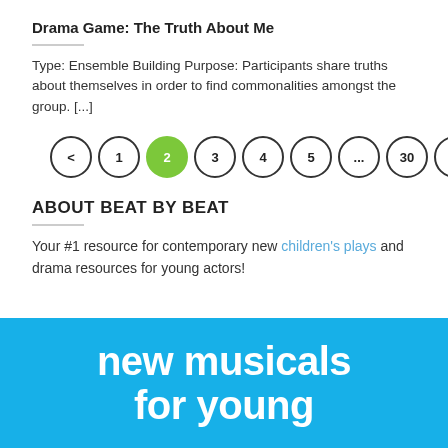Drama Game: The Truth About Me
Type: Ensemble Building Purpose: Participants share truths about themselves in order to find commonalities amongst the group. [...]
[Figure (other): Pagination navigation showing previous arrow, pages 1, 2 (active/highlighted in green), 3, 4, 5, ..., 30, and next arrow]
ABOUT BEAT BY BEAT
Your #1 resource for contemporary new children's plays and drama resources for young actors!
[Figure (infographic): Blue banner with white bold text reading 'new musicals for young']